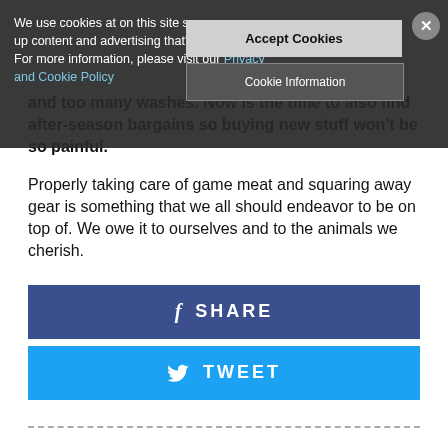We use cookies at on this site so we can serve up content and advertising that's relevant to you. For more information, please visit our Privacy and Cookie Policy
Accept Cookies
Cookie Information
and too many washes. Now is the time to also find after-season bargains so buying new stuff won't be so painful.
Properly taking care of game meat and squaring away gear is something that we all should endeavor to be on top of. We owe it to ourselves and to the animals we cherish.
f  SHARE
🐦  TWEET